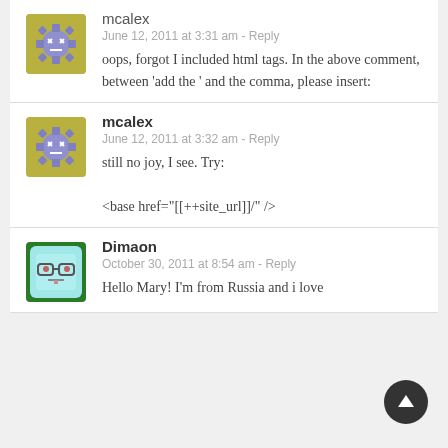[Figure (illustration): Avatar for mcalex - purple gear/cog cartoon character with X eyes on olive/yellow background]
mcalex
June 12, 2011 at 3:31 am - Reply
oops, forgot I included html tags. In the above comment, between ‘add the ‘ and the comma, please insert:
[Figure (illustration): Avatar for mcalex - purple gear/cog cartoon character with X eyes on olive/yellow background]
mcalex
June 12, 2011 at 3:32 am - Reply
still no joy, I see. Try:
<base href="[[++site_url]]/" />
[Figure (illustration): Avatar for Dimaon - light blue square character with glasses and neutral expression]
Dimaon
October 30, 2011 at 8:54 am - Reply
Hello Mary! I'm from Russia and i love